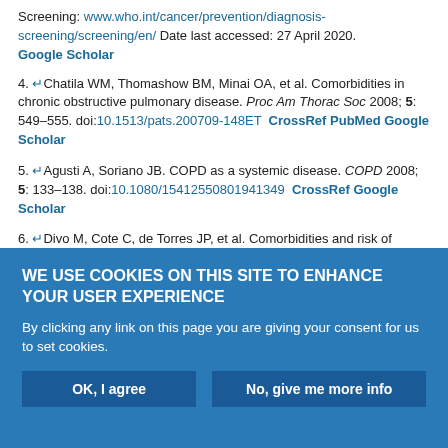Screening: www.who.int/cancer/prevention/diagnosis-screening/screening/en/ Date last accessed: 27 April 2020. Google Scholar
4. Chatila WM, Thomashow BM, Minai OA, et al. Comorbidities in chronic obstructive pulmonary disease. Proc Am Thorac Soc 2008; 5: 549–555. doi:10.1513/pats.200709-148ET CrossRef PubMed Google Scholar
5. Agusti A, Soriano JB. COPD as a systemic disease. COPD 2008; 5: 133–138. doi:10.1080/15412550801941349 CrossRef Google Scholar
6. Divo M, Cote C, de Torres JP, et al. Comorbidities and risk of mortality in patients with chronic obstructive pulmonary disease. Am J Respir Crit Care Med 2012; 186: 155–161. doi:10.1164/rccm.201201-0034OC CrossRef PubMed Google Scholar
WE USE COOKIES ON THIS SITE TO ENHANCE YOUR USER EXPERIENCE
By clicking any link on this page you are giving your consent for us to set cookies.
OK, I agree | No, give me more info